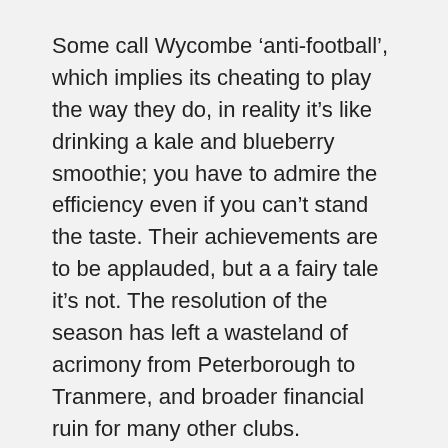Some call Wycombe ‘anti-football’, which implies its cheating to play the way they do, in reality it’s like drinking a kale and blueberry smoothie; you have to admire the efficiency even if you can’t stand the taste. Their achievements are to be applauded, but a a fairy tale it’s not. The resolution of the season has left a wasteland of acrimony from Peterborough to Tranmere, and broader financial ruin for many other clubs. Wycombe will be giddy on their success, but are ill-equipped for the Championship. One of their players said they would enjoy every moment of it; but the novelty of losing 20-30 games a season will wear thin eventually. If they’re lucky, they’ll do a Burton and bounce back to a less elevated normality, but they could do a Yeovil and collapse completely.
And deep down, there is some solace in a deeper